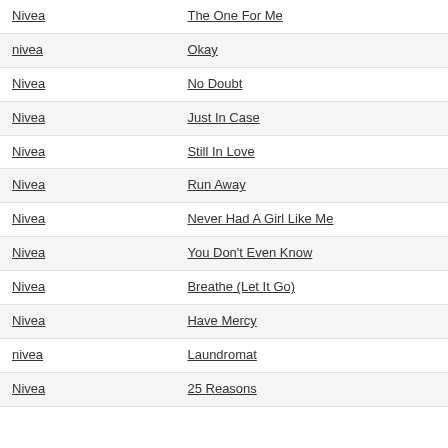| Artist | Song |
| --- | --- |
| Nivea | The One For Me |
| nivea | Okay |
| Nivea | No Doubt |
| Nivea | Just In Case |
| Nivea | Still In Love |
| Nivea | Run Away |
| Nivea | Never Had A Girl Like Me |
| Nivea | You Don't Even Know |
| Nivea | Breathe (Let It Go) |
| Nivea | Have Mercy |
| nivea | Laundromat |
| Nivea | 25 Reasons |